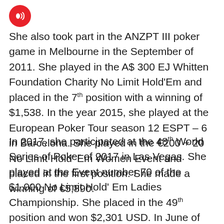[Figure (other): Red circular audio/podcast icon with wifi/sound waves symbol]
She also took part in the ANZPT III poker game in Melbourne in the September of 2011. She played in the A$ 300 EJ Whitten Foundation Charity No Limit Hold'Em and placed in the 7th position with a winning of $1,538. In the year 2015, she played at the European Poker Tour season 12 ESPT – 6 in Barcelona. She played in the €200 + 20 No Limit Hold' Em Women Event and placed in the first position. She made a winning of €5,890.
In 2017, she participated at the 48th World Series of Poker of 2017 in Las Vegas. She played at the Event number 70 of the $1,000 No Limit Hold' Em Ladies Championship. She placed in the 49th position and won $2,301 USD. In June of 2018, she also took part in the Aria 2018 Poker Classic in Las Vegas. She played at the $500 + 65 No Limit Hold' Em World Poker Tour 500 and placed in the 376th position.